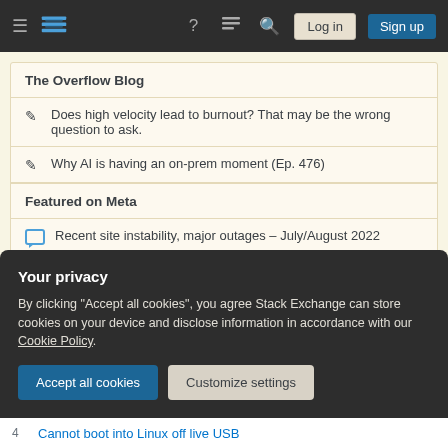Stack Exchange navigation bar with hamburger menu, logo, help icon, chat icon, search icon, Log in button, Sign up button
The Overflow Blog
Does high velocity lead to burnout? That may be the wrong question to ask.
Why AI is having an on-prem moment (Ep. 476)
Featured on Meta
Recent site instability, major outages – July/August 2022
Please welcome Valued Associate #1301 - Emerson
Your privacy
By clicking "Accept all cookies", you agree Stack Exchange can store cookies on your device and disclose information in accordance with our Cookie Policy.
Accept all cookies
Customize settings
4  Cannot boot into Linux off live USB